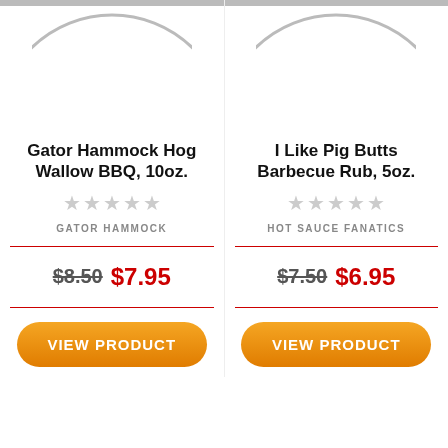[Figure (illustration): Partial product image circle, left product (Gator Hammock Hog Wallow BBQ), cropped at top]
[Figure (illustration): Partial product image circle, right product (I Like Pig Butts Barbecue Rub), cropped at top]
Gator Hammock Hog Wallow BBQ, 10oz.
I Like Pig Butts Barbecue Rub, 5oz.
GATOR HAMMOCK
HOT SAUCE FANATICS
$8.50 $7.95
$7.50 $6.95
VIEW PRODUCT
VIEW PRODUCT